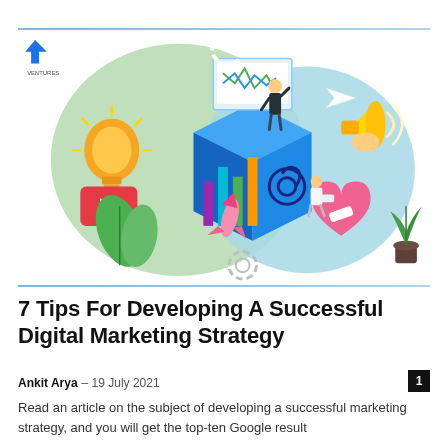[Figure (illustration): Digital marketing strategy illustration with isometric design elements: light bulb, gears, rocket, laptop, megaphone, plant, people working on analytics dashboard, social media icons, target/bullseye]
7 Tips For Developing A Successful Digital Marketing Strategy
Ankit Arya – 19 July 2021
Read an article on the subject of developing a successful marketing strategy, and you will get the top-ten Google result